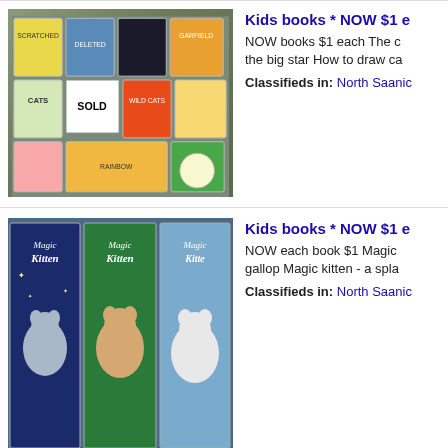[Figure (photo): Photo of multiple kids books spread on a floor, including Cats, Garfield, and other titles. A white box with SOLD text is overlaid on the image.]
Kids books * NOW $1 e
NOW books $1 each The c the big star How to draw ca
Classifieds in: North Saanio
[Figure (photo): Photo of three Magic Kitten books side by side against a colorful background.]
Kids books * NOW $1 e
NOW each book $1 Magic gallop Magic kitten - a spla
Classifieds in: North Saanio
[Figure (photo): Photo of a yellow book cover reading AN INTERACTIVE PUZZLE STORYBOOK with Lego Adventures Junior kit text.]
Kids books * NOW $1 e
NOW $1 each book Lego - Skippyjon Jones Skippyon